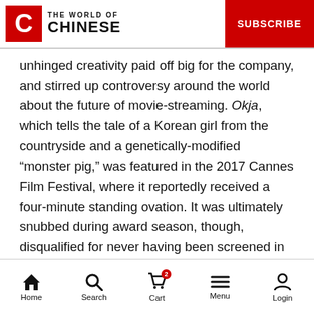THE WORLD OF CHINESE | SUBSCRIBE
unhinged creativity paid off big for the company, and stirred up controversy around the world about the future of movie-streaming. Okja, which tells the tale of a Korean girl from the countryside and a genetically-modified “monster pig,” was featured in the 2017 Cannes Film Festival, where it reportedly received a four-minute standing ovation. It was ultimately snubbed during award season, though, disqualified for never having been screened in theaters, a policy Netflix will likely circumvent by arranging highly limited releases.
Home | Search | Cart | Menu | Login